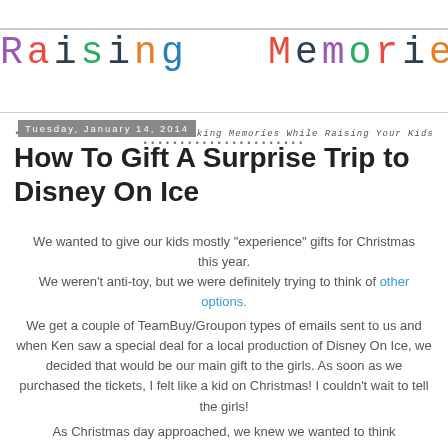Raising Memories — Making Memories While Raising Your Kids
Tuesday, January 14, 2014
How To Gift A Surprise Trip to Disney On Ice
We wanted to give our kids mostly "experience" gifts for Christmas this year.
We weren't anti-toy, but we were definitely trying to think of other options.
We get a couple of TeamBuy/Groupon types of emails sent to us and when Ken saw a special deal for a local production of Disney On Ice, we decided that would be our main gift to the girls. As soon as we purchased the tickets, I felt like a kid on Christmas! I couldn't wait to tell the girls!
As Christmas day approached, we knew we wanted to think